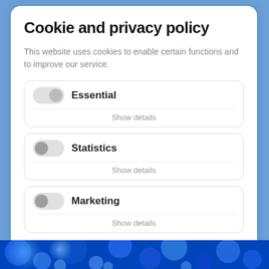Cookie and privacy policy
This website uses cookies to enable certain functions and to improve our service.
Essential — Show details
Statistics — Show details
Marketing — Show details
[Figure (photo): Blue glowing background photo visible at bottom of page]